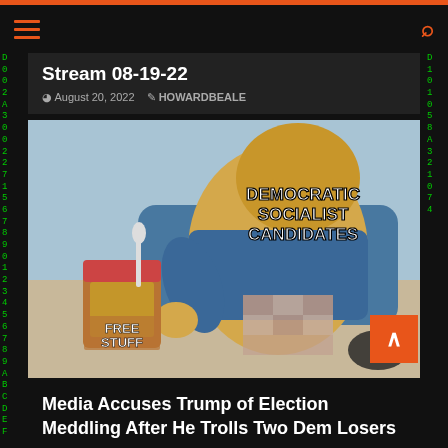Stream 08-19-22
August 20, 2022   HOWARDBEALE
[Figure (photo): Meme image of cartoon character (Scooby-Doo style dog) labeled 'DEMOCRATIC SOCIALIST CANDIDATES' reaching for a jar of peanut butter labeled 'FREE STUFF']
Media Accuses Trump of Election Meddling After He Trolls Two Dem Losers